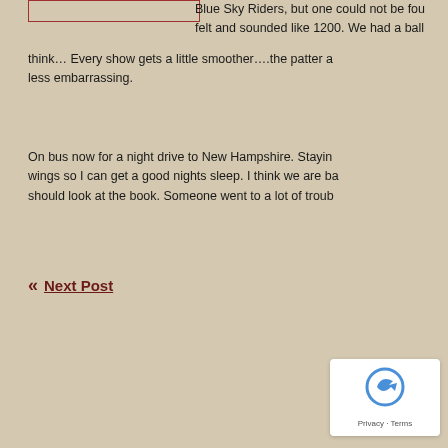Blue Sky Riders, but one could not be found. The crowd felt and sounded like 1200. We had a ball though I think… Every show gets a little smoother….the patter a less embarrassing.
On bus now for a night drive to New Hampshire. Staying wings so I can get a good nights sleep. I think we are ba should look at the book. Someone went to a lot of troub
« Next Post